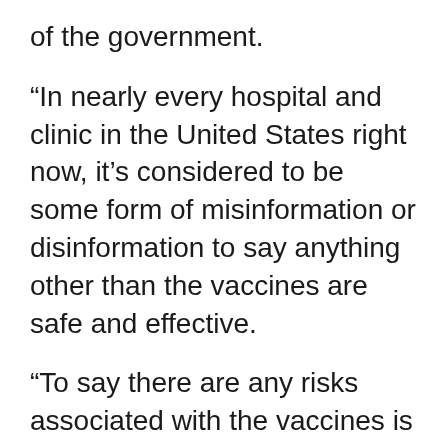of the government.
“In nearly every hospital and clinic in the United States right now, it’s considered to be some form of misinformation or disinformation to say anything other than the vaccines are safe and effective.
“To say there are any risks associated with the vaccines is claimed to be misinformation or disinformation, and the working definition of misinformation or disinformation seems to be anything that would prevent someone from submitting to or doubting the FDA [Food and Drug Administration] and CDC [Centers for Disease Control and Prevention] guidelines and